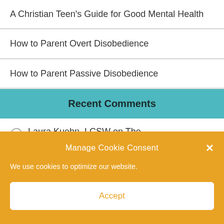A Christian Teen's Guide for Good Mental Health
How to Parent Overt Disobedience
How to Parent Passive Disobedience
Recent Comments
Laura Kuehn, LCSW on The
Manage Cookie Consent
We use cookies to optimize our website.
Accept